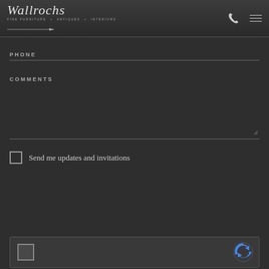[Figure (logo): Wallrochs Fine Furniture + Antiques + Interiors logo with script text and arrow]
PHONE
COMMENTS
Send me updates and invitations
[Figure (other): reCAPTCHA widget with checkbox and Google reCAPTCHA logo]